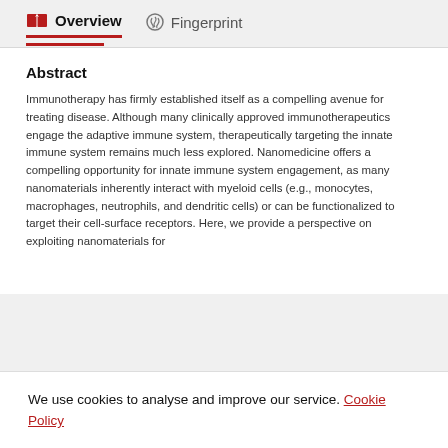Overview   Fingerprint
Abstract
Immunotherapy has firmly established itself as a compelling avenue for treating disease. Although many clinically approved immunotherapeutics engage the adaptive immune system, therapeutically targeting the innate immune system remains much less explored. Nanomedicine offers a compelling opportunity for innate immune system engagement, as many nanomaterials inherently interact with myeloid cells (e.g., monocytes, macrophages, neutrophils, and dendritic cells) or can be functionalized to target their cell-surface receptors. Here, we provide a perspective on exploiting nanomaterials for
We use cookies to analyse and improve our service. Cookie Policy